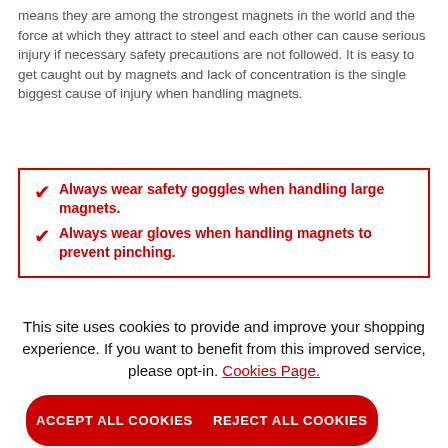means they are among the strongest magnets in the world and the force at which they attract to steel and each other can cause serious injury if necessary safety precautions are not followed. It is easy to get caught out by magnets and lack of concentration is the single biggest cause of injury when handling magnets.
Always wear safety goggles when handling large magnets.
Always wear gloves when handling magnets to prevent pinching.
This site uses cookies to provide and improve your shopping experience. If you want to benefit from this improved service, please opt-in. Cookies Page.
ACCEPT ALL COOKIES
REJECT ALL COOKIES
MANAGE PREFERENCES